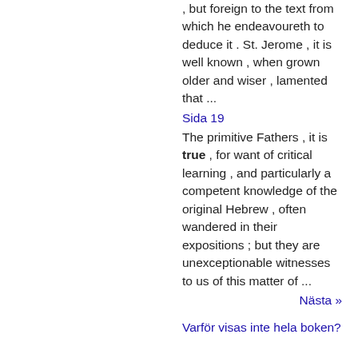, but foreign to the text from which he endeavoureth to deduce it . St. Jerome , it is well known , when grown older and wiser , lamented that ...
Sida 19
The primitive Fathers , it is true , for want of critical learning , and particularly a competent knowledge of the original Hebrew , often wandered in their expositions ; but they are unexceptionable witnesses to us of this matter of ...
Nästa »
Varför visas inte hela boken?